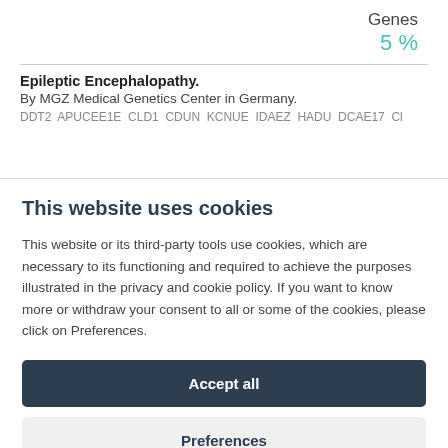Genes
5 %
Epileptic Encephalopathy.
By MGZ Medical Genetics Center in Germany.
DDT2 APUCEE1E CLD1 CDUN KCNUE IDAEZ HADU DCAE17 Cl
This website uses cookies
This website or its third-party tools use cookies, which are necessary to its functioning and required to achieve the purposes illustrated in the privacy and cookie policy. If you want to know more or withdraw your consent to all or some of the cookies, please click on Preferences.
Accept all
Preferences